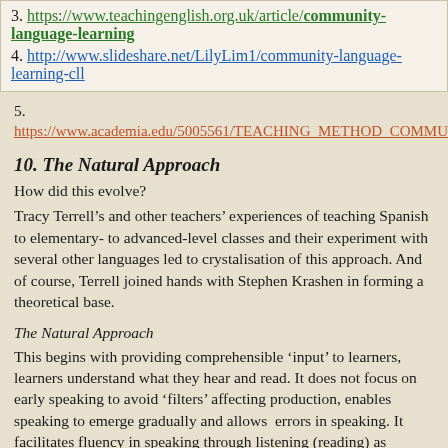3. https://www.teachingenglish.org.uk/article/community-language-learning
4. http://www.slideshare.net/LilyLim1/community-language-learning-cll
5. https://www.academia.edu/5005561/TEACHING_METHOD_COMMUNITY_LANGUAGE_LEARNING
10. The Natural Approach
How did this evolve?
Tracy Terrell’s and other teachers’ experiences of teaching Spanish to elementary- to advanced-level classes and their experiment with several other languages led to crystalisation of this approach. And of course, Terrell joined hands with Stephen Krashen in forming a theoretical base.
The Natural Approach
This begins with providing comprehensible ‘input’ to learners, learners understand what they hear and read. It does not focus on early speaking to avoid ‘filters’ affecting production, enables speaking to emerge gradually and allows  errors in speaking. It facilitates fluency in speaking through listening (reading) as